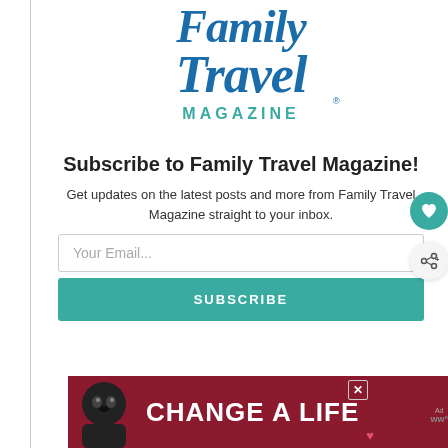[Figure (logo): Family Travel Magazine logo — script text 'Family Travel' in blue with 'MAGAZINE' in teal below]
Subscribe to Family Travel Magazine!
Get updates on the latest posts and more from Family Travel Magazine straight to your inbox.
[Figure (screenshot): Email input field with placeholder 'Your Email...' and a teal SUBSCRIBE button below it]
[Figure (photo): Advertisement banner with dark red background showing a black Labrador dog and text 'CHANGE A LIFE']